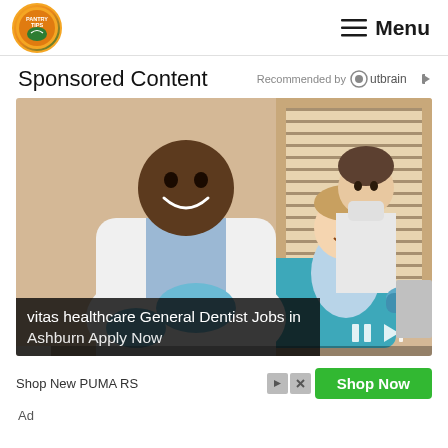PANTRY TIPS — Menu
Sponsored Content — Recommended by Outbrain
[Figure (photo): Dental advertisement video showing a smiling Black male dentist in white coat with blue gloves, a female nurse in background with mask, and a smiling young boy in dental chair. Video controls (pause, skip) visible at bottom right. Progress bar at bottom. Ad caption text: 'vitas healthcare General Dentist Jobs in Ashburn Apply Now']
vitas healthcare General Dentist Jobs in Ashburn Apply Now
Shop New PUMA RS
Shop Now
Ad